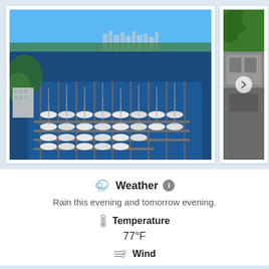[Figure (photo): Aerial view of a marina with many sailboats and motorboats docked in slips, blue water, green trees, and a city skyline in the background under a clear blue sky.]
[Figure (photo): Partial view of a second photo showing green trees and a stone/concrete structure, partially cropped with a right-arrow navigation button.]
Weather
Rain this evening and tomorrow evening.
Temperature
77°F
Wind